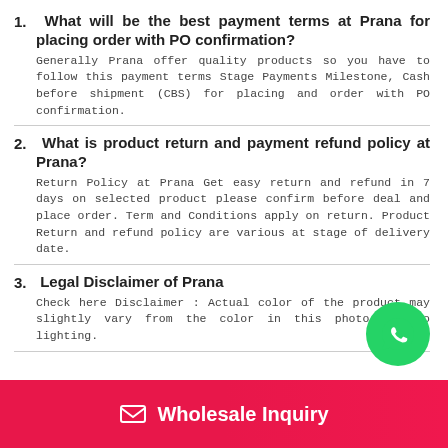1. What will be the best payment terms at Prana for placing order with PO confirmation?
Generally Prana offer quality products so you have to follow this payment terms Stage Payments Milestone, Cash before shipment (CBS) for placing and order with PO confirmation.
2. What is product return and payment refund policy at Prana?
Return Policy at Prana Get easy return and refund in 7 days on selected product please confirm before deal and place order. Term and Conditions apply on return. Product Return and refund policy are various at stage of delivery date.
3. Legal Disclaimer of Prana
Check here Disclaimer : Actual color of the product may slightly vary from the color in this photo due to lighting.
Wholesale Inquiry